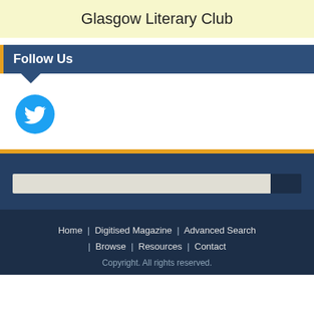Glasgow Literary Club
Follow Us
[Figure (logo): Twitter bird logo icon in a blue circle]
[Figure (screenshot): Search input bar with dark submit button on dark blue background]
Home | Digitised Magazine | Advanced Search | Browse | Resources | Contact Copyright. All rights reserved.